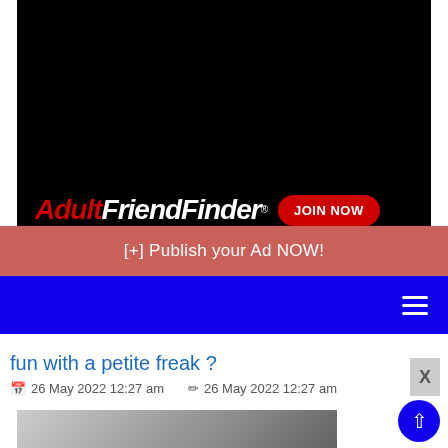[Figure (screenshot): AdultFriendFinder advertisement banner with black background, logo showing 'Adult' in red italic bold and 'FriendFinder' in white italic bold, and a red 'JOIN NOW' button]
[+] Publish your Ad NOW!
[Figure (screenshot): Blue navigation bar with white hamburger menu icon on the right]
fun with a petite freak ?
26 May 2022 12:27 am   26 May 2022 12:27 am
[Figure (photo): Partial photo visible at bottom of page]